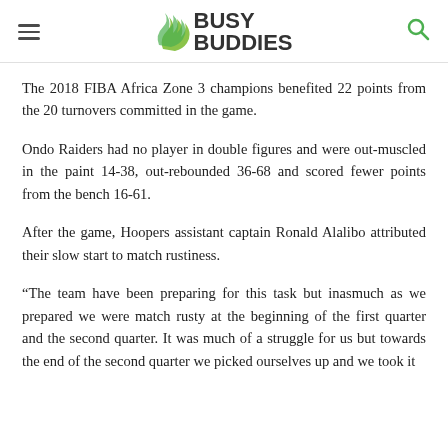Busy Buddies
The 2018 FIBA Africa Zone 3 champions benefited 22 points from the 20 turnovers committed in the game.
Ondo Raiders had no player in double figures and were out-muscled in the paint 14-38, out-rebounded 36-68 and scored fewer points from the bench 16-61.
After the game, Hoopers assistant captain Ronald Alalibo attributed their slow start to match rustiness.
“The team have been preparing for this task but inasmuch as we prepared we were match rusty at the beginning of the first quarter and the second quarter. It was much of a struggle for us but towards the end of the second quarter we picked ourselves up and we took it